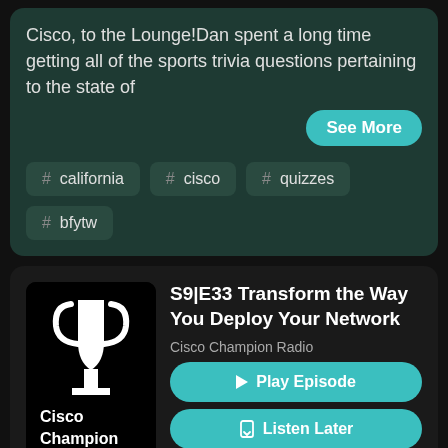Cisco, to the Lounge!Dan spent a long time getting all of the sports trivia questions pertaining to the state of
See More
# california
# cisco
# quizzes
# bfytw
[Figure (logo): Cisco Champion logo — black square with white trophy/cup icon and text 'Cisco Champion']
S9|E33 Transform the Way You Deploy Your Network
Cisco Champion Radio
Play Episode
Listen Later
Aug 23, 2022
33:39